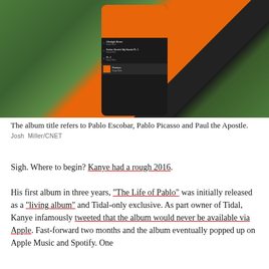[Figure (photo): A hand holding a smartphone displaying Kanye West's 'The Life of Pablo' album on a music streaming app, with green tropical leaves in the background. The phone screen shows an orange album art at top and a tracklist including 'Ultralight Beam', 'Father Stretch My Hands Pt. 1', 'Pt. 2', and 'Famous' currently playing.]
The album title refers to Pablo Escobar, Pablo Picasso and Paul the Apostle.
Josh Miller/CNET
Sigh. Where to begin? Kanye had a rough 2016.
His first album in three years, "The Life of Pablo" was initially released as a "living album" and Tidal-only exclusive. As part owner of Tidal, Kanye infamously tweeted that the album would never be available via Apple. Fast-forward two months and the album eventually popped up on Apple Music and Spotify. One